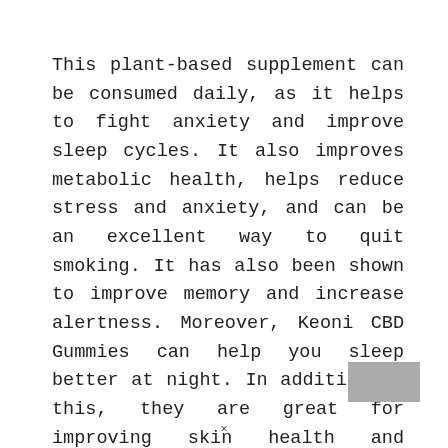This plant-based supplement can be consumed daily, as it helps to fight anxiety and improve sleep cycles. It also improves metabolic health, helps reduce stress and anxiety, and can be an excellent way to quit smoking. It has also been shown to improve memory and increase alertness. Moreover, Keoni CBD Gummies can help you sleep better at night. In addition to this, they are great for improving skin health and helping you heal faster.
[Figure (other): A small grey rectangle in the bottom-right corner of the page, partially cut off.]